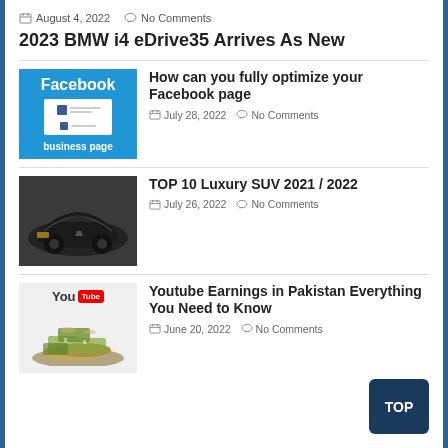August 4, 2022   No Comments
2023 BMW i4 eDrive35 Arrives As New
[Figure (illustration): Facebook business page thumbnail with blue background]
How can you fully optimize your Facebook page
July 28, 2022   No Comments
[Figure (photo): Luxury SUV black car photo]
TOP 10 Luxury SUV 2021 / 2022
July 26, 2022   No Comments
[Figure (illustration): YouTube logo with pile of money]
Youtube Earnings in Pakistan Everything You Need to Know
June 20, 2022   No Comments